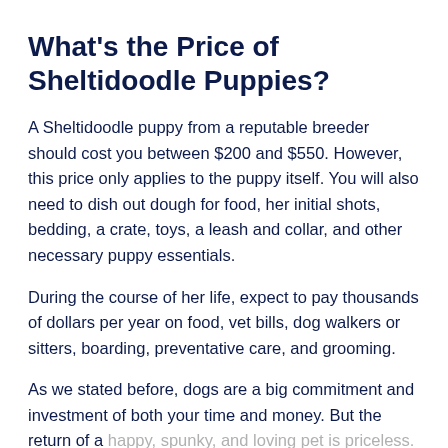What's the Price of Sheltidoodle Puppies?
A Sheltidoodle puppy from a reputable breeder should cost you between $200 and $550. However, this price only applies to the puppy itself. You will also need to dish out dough for food, her initial shots, bedding, a crate, toys, a leash and collar, and other necessary puppy essentials.
During the course of her life, expect to pay thousands of dollars per year on food, vet bills, dog walkers or sitters, boarding, preventative care, and grooming.
As we stated before, dogs are a big commitment and investment of both your time and money. But the return of a happy, spunky, and loving pet is priceless.